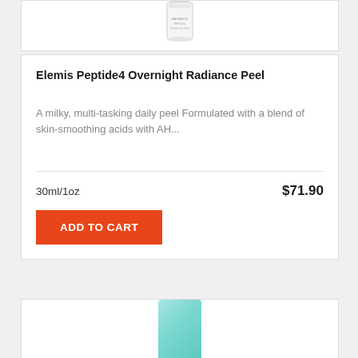[Figure (photo): Partial product image of a skincare bottle at the top, cropped]
Elemis Peptide4 Overnight Radiance Peel
A milky, multi-tasking daily peel Formulated with a blend of skin-smoothing acids with AH...
30ml/1oz
$71.90
ADD TO CART
[Figure (photo): Partial product image of a teal/mint colored skincare bottle at the bottom, cropped]